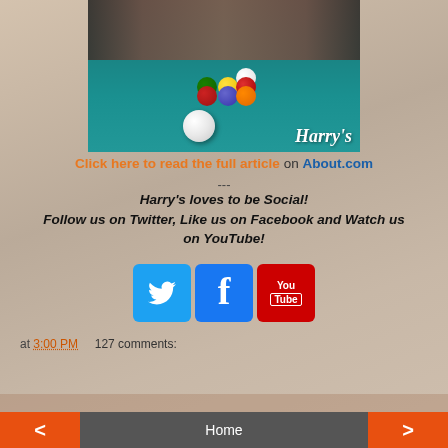[Figure (photo): Person racking billiard balls on a pool table with teal/green felt, with Harry's logo watermark in bottom right corner]
Click here to read the full article on About.com
---
Harry's loves to be Social!
Follow us on Twitter, Like us on Facebook and Watch us on YouTube!
[Figure (infographic): Three social media icons: Twitter (blue bird), Facebook (blue f), YouTube (red You Tube)]
at 3:00 PM     127 comments:
Share
< Home >